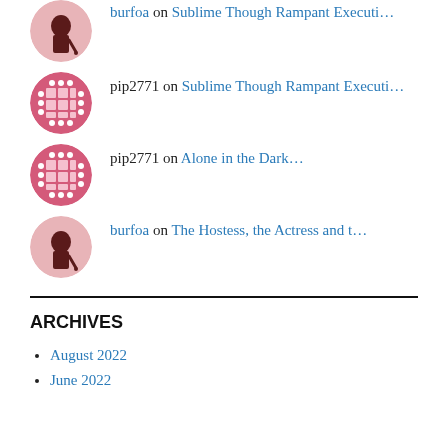burfoa on Sublime Though Rampant Executi…
pip2771 on Sublime Though Rampant Executi…
pip2771 on Alone in the Dark…
burfoa on The Hostess, the Actress and t…
ARCHIVES
August 2022
June 2022